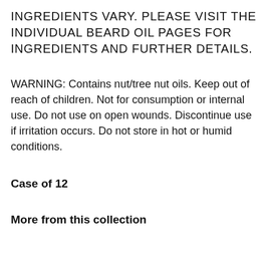INGREDIENTS VARY. PLEASE VISIT THE INDIVIDUAL BEARD OIL PAGES FOR INGREDIENTS AND FURTHER DETAILS.
WARNING: Contains nut/tree nut oils. Keep out of reach of children. Not for consumption or internal use. Do not use on open wounds. Discontinue use if irritation occurs. Do not store in hot or humid conditions.
Case of 12
More from this collection